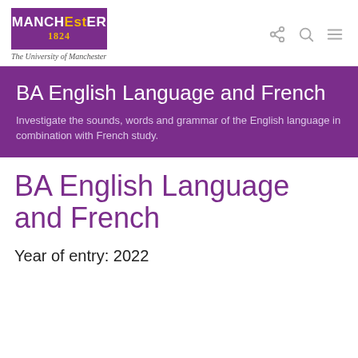[Figure (logo): University of Manchester logo: purple rectangle with MANCHESTER 1824 in white and gold text, with subtitle 'The University of Manchester']
BA English Language and French
Investigate the sounds, words and grammar of the English language in combination with French study.
BA English Language and French
Year of entry: 2022